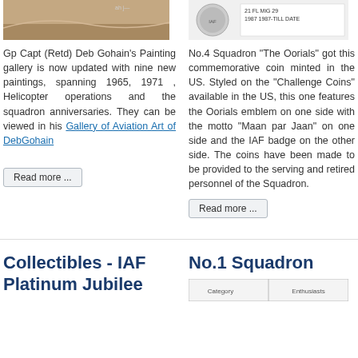[Figure (photo): Painting by Gp Capt (Retd) Deb Gohain – aerial/aviation scene with brown tones]
[Figure (photo): Commemorative coin image for No.4 Squadron The Oorials, showing MiG 29 and dates 1987 – till date]
Gp Capt (Retd) Deb Gohain's Painting gallery is now updated with nine new paintings, spanning 1965, 1971 , Helicopter operations and the squadron anniversaries. They can be viewed in his Gallery of Aviation Art of DebGohain
No.4 Squadron "The Oorials" got this commemorative coin minted in the US. Styled on the "Challenge Coins" available in the US, this one features the Oorials emblem on one side with the motto "Maan par Jaan" on one side and the IAF badge on the other side. The coins have been made to be provided to the serving and retired personnel of the Squadron.
Read more ...
Read more ...
Collectibles - IAF Platinum Jubilee
No.1 Squadron
[Figure (screenshot): Partial table or image at bottom right under No.1 Squadron section]